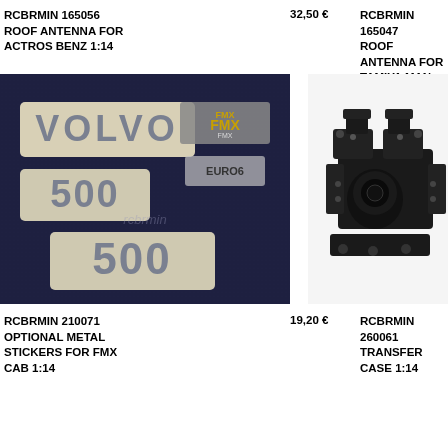RCBRMIN 165056
ROOF ANTENNA FOR
ACTROS BENZ 1:14
32,50 €
RCBRMIN 165047
ROOF ANTENNA FOR
TAMIYA MAN 1:14
[Figure (photo): Volvo FMX optional metal stickers set on dark background showing VOLVO 500 FMX EURO6 badges]
[Figure (photo): Black metal transfer case for 1:14 RC truck]
RCBRMIN 210071
OPTIONAL METAL
STICKERS FOR FMX
CAB 1:14
19,20 €
RCBRMIN 260061
TRANSFER CASE 1:14